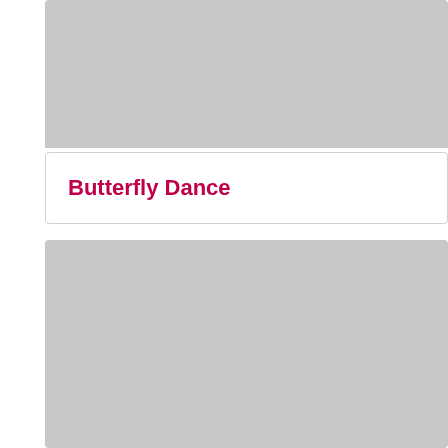[Figure (photo): Gray placeholder image at top]
Butterfly Dance
[Figure (photo): Gray placeholder image at bottom]